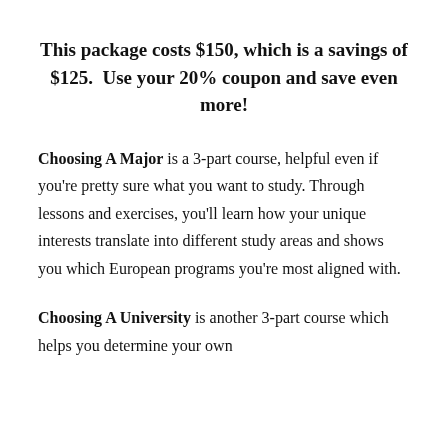This package costs $150, which is a savings of $125.  Use your 20% coupon and save even more!
Choosing A Major is a 3-part course, helpful even if you're pretty sure what you want to study. Through lessons and exercises, you'll learn how your unique interests translate into different study areas and shows you which European programs you're most aligned with.
Choosing A University is another 3-part course which helps you determine your own